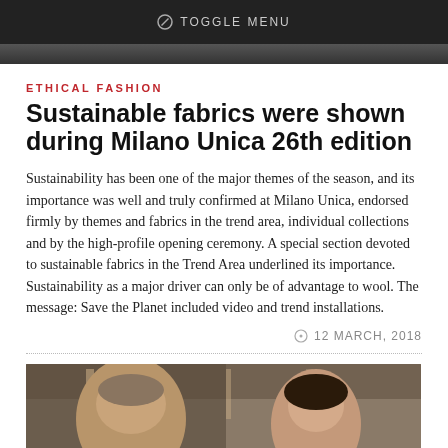TOGGLE MENU
ETHICAL FASHION
Sustainable fabrics were shown during Milano Unica 26th edition
Sustainability has been one of the major themes of the season, and its importance was well and truly confirmed at Milano Unica, endorsed firmly by themes and fabrics in the trend area, individual collections and by the high-profile opening ceremony. A special section devoted to sustainable fabrics in the Trend Area underlined its importance. Sustainability as a major driver can only be of advantage to wool. The message: Save the Planet included video and trend installations.
12 MARCH, 2018
[Figure (photo): Two people at what appears to be an exhibition or trade show event, a man and a woman, with exhibition displays in the background]